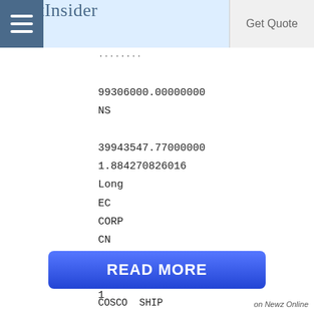StreetInsider | Get Quote
99306000.00000000
NS

39943547.77000000
1.884270826016
Long
EC
CORP
CN
N

1

N
N
N
READ MORE
COSCO SHIP